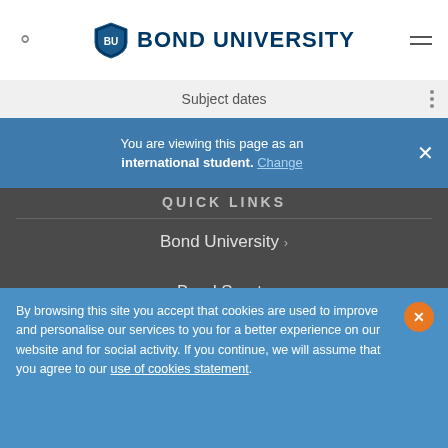Bond University
Subject dates
You are viewing this page as an international student. Change
QUICK LINKS
Bond University
Bond Sport
Bond University College
Library
By browsing this site you accept that cookies are used to improve and personalise our services to you for a better experience on our website and for social activity. If you continue, we will assume that you agree to our use of cookies statement.